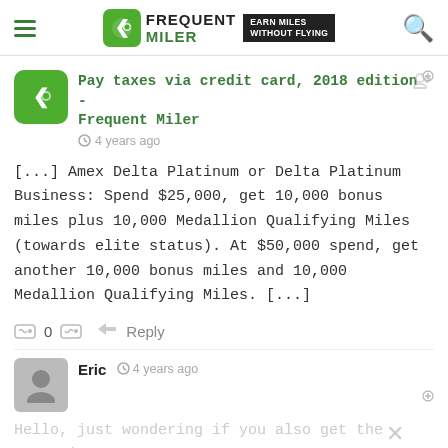Frequent Miler - Earn Miles Without Flying
Pay taxes via credit card, 2018 edition - Frequent Miler
4 years ago
[...] Amex Delta Platinum or Delta Platinum Business: Spend $25,000, get 10,000 bonus miles plus 10,000 Medallion Qualifying Miles (towards elite status). At $50,000 spend, get another 10,000 bonus miles and 10,000 Medallion Qualifying Miles. [...]
Eric  4 years ago
Hello, just wondering if you also get the companion